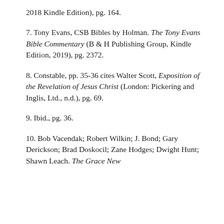2018 Kindle Edition), pg. 164.
7. Tony Evans, CSB Bibles by Holman. The Tony Evans Bible Commentary (B & H Publishing Group, Kindle Edition, 2019), pg. 2372.
8. Constable, pp. 35-36 cites Walter Scott, Exposition of the Revelation of Jesus Christ (London: Pickering and Inglis, Ltd., n.d.), pg. 69.
9. Ibid., pg. 36.
10. Bob Vacendak; Robert Wilkin; J. Bond; Gary Derickson; Brad Doskocil; Zane Hodges; Dwight Hunt; Shawn Leach. The Grace New